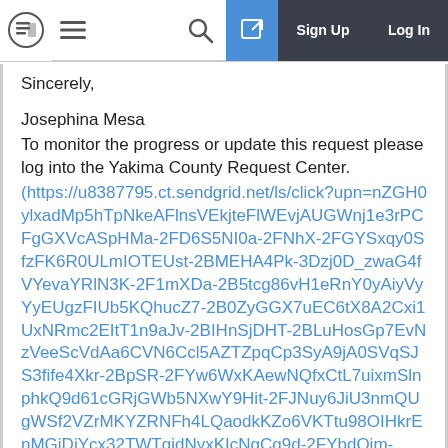Sign Up  Log In
Sincerely,
Josephina Mesa
To monitor the progress or update this request please log into the Yakima County Request Center. (https://u8387795.ct.sendgrid.net/ls/click?upn=nZGH0ylxadMp5hTpNkeAFlnsVEkjteFlWEvjAUGWnj1e3rPCFgGXVcASpHMa-2FD6S5NI0a-2FNhX-2FGYSxqy0SfzFK6R0ULmIOTEUst-2BMEHA4Pk-3Dzj0D_zwaG4fVYevaYRlN3K-2F1mXDa-2B5tcg86vH1eRnY0yAiyVyYyEUgzFIUb5KQhucZ7-2B0ZyGGX7uEC6tX8A2Cxi1UxNRmc2EItT1n9aJv-2BIHnSjDHT-2BLuHosGp7EvNzVeeScVdAa6CVN6Ccl5AZTZpqCp3SyA9jA0SVqSJS3fife4Xkr-2BpSR-2FYw6WxKAewNQfxCtL7uixmSlnphkQ9d61cGRjGWb5NXwY9Hit-2FJNuy6JiU3nmQUgWSf2VZrMKYZRNFh4LQaodkKZo6VKTtu98OIHkrEnMGiDiYcx32TWTgidNyxKIcNgCg9d-2FYbdOim-